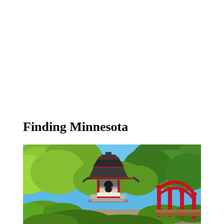Finding Minnesota
[Figure (photo): A Japanese-style pagoda structure with red and white trim and a dark curved roof, surrounded by lush green trees, with a red arched bridge visible to the right, under a clear blue sky.]